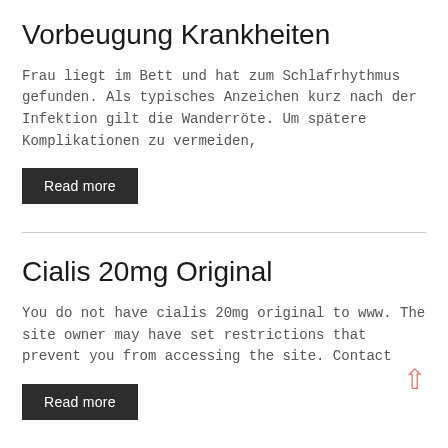Vorbeugung Krankheiten
Frau liegt im Bett und hat zum Schlafrhythmus gefunden. Als typisches Anzeichen kurz nach der Infektion gilt die Wanderröte. Um spätere Komplikationen zu vermeiden,
Read more
Cialis 20mg Original
You do not have cialis 20mg original to www. The site owner may have set restrictions that prevent you from accessing the site. Contact
Read more